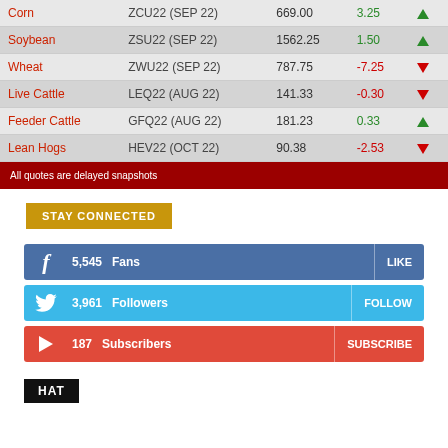| Commodity | Contract | Price | Change | Direction |
| --- | --- | --- | --- | --- |
| Corn | ZCU22 (SEP 22) | 669.00 | 3.25 | ↑ |
| Soybean | ZSU22 (SEP 22) | 1562.25 | 1.50 | ↑ |
| Wheat | ZWU22 (SEP 22) | 787.75 | -7.25 | ↓ |
| Live Cattle | LEQ22 (AUG 22) | 141.33 | -0.30 | ↓ |
| Feeder Cattle | GFQ22 (AUG 22) | 181.23 | 0.33 | ↑ |
| Lean Hogs | HEV22 (OCT 22) | 90.38 | -2.53 | ↓ |
All quotes are delayed snapshots
STAY CONNECTED
5,545  Fans   LIKE
3,961  Followers   FOLLOW
187  Subscribers   SUBSCRIBE
HAT